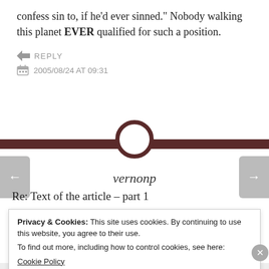confess sin to, if he'd ever sinned." Nobody walking this planet EVER qualified for such a position.
REPLY
2005/08/24 AT 09:31
vernonp
Re: Text of the article – part 1
Privacy & Cookies: This site uses cookies. By continuing to use this website, you agree to their use.
To find out more, including how to control cookies, see here:
Cookie Policy
Close and accept